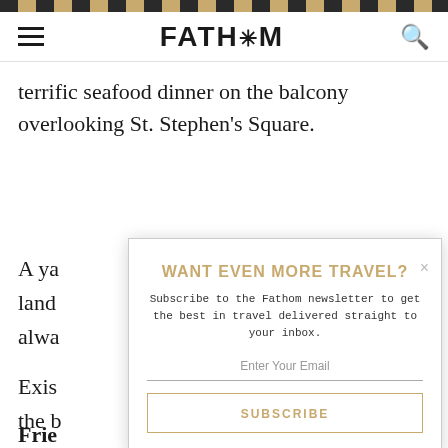FATH*M
terrific seafood dinner on the balcony overlooking St. Stephen's Square.
A ya
land
alwa
Exis
the b
Frie
one
[Figure (screenshot): Newsletter signup modal overlay with title 'WANT EVEN MORE TRAVEL?', description text, email input and subscribe button]